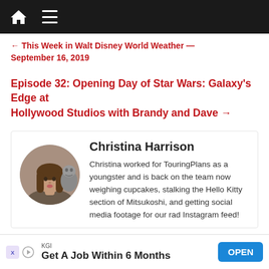Navigation bar with home and menu icons
← This Week in Walt Disney World Weather — September 16, 2019
Episode 32: Opening Day of Star Wars: Galaxy's Edge at Hollywood Studios with Brandy and Dave →
[Figure (photo): Circular avatar photo of Christina Harrison posing with a Star Wars alien statue]
Christina Harrison
Christina worked for TouringPlans as a youngster and is back on the team now weighing cupcakes, stalking the Hello Kitty section of Mitsukoshi, and getting social media footage for our rad Instagram feed!
KGI Get A Job Within 6 Months OPEN